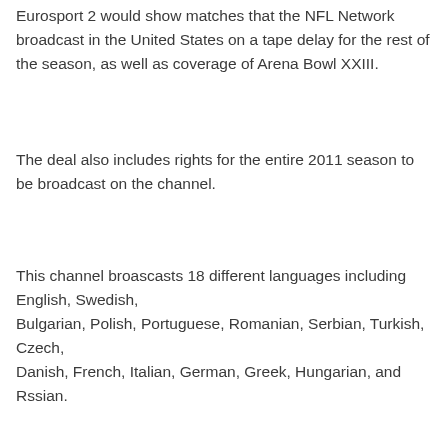Eurosport 2 would show matches that the NFL Network broadcast in the United States on a tape delay for the rest of the season, as well as coverage of Arena Bowl XXIII.
The deal also includes rights for the entire 2011 season to be broadcast on the channel.
This channel broascasts 18 different languages including English, Swedish, Bulgarian, Polish, Portuguese, Romanian, Serbian, Turkish, Czech, Danish, French, Italian, German, Greek, Hungarian, and Rssian.